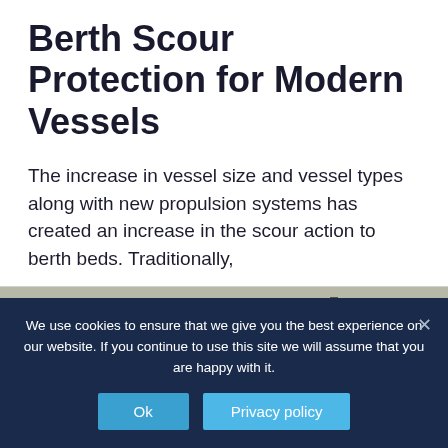Berth Scour Protection for Modern Vessels
The increase in vessel size and vessel types along with new propulsion systems has created an increase in the scour action to berth beds. Traditionally,
[Figure (photo): Workers in orange high-visibility vests on a construction or marine site with heavy machinery visible]
We use cookies to ensure that we give you the best experience on our website. If you continue to use this site we will assume that you are happy with it.